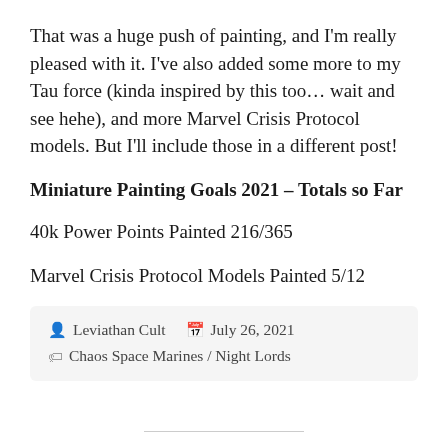That was a huge push of painting, and I'm really pleased with it. I've also added some more to my Tau force (kinda inspired by this too… wait and see hehe), and more Marvel Crisis Protocol models. But I'll include those in a different post!
Miniature Painting Goals 2021 – Totals so Far
40k Power Points Painted 216/365
Marvel Crisis Protocol Models Painted 5/12
Leviathan Cult   July 26, 2021
Chaos Space Marines / Night Lords